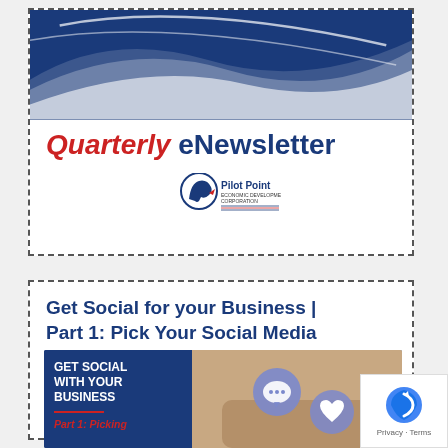[Figure (illustration): Quarterly eNewsletter header banner for Pilot Point Economic Development Corporation. Dark blue background with white wave swoosh design. Red italic 'Quarterly' and dark blue bold 'eNewsletter' title text. Pilot Point EDC logo below.]
Get Social for your Business | Part 1: Pick Your Social Media
[Figure (illustration): Article image with dark blue background on the left showing white bold text 'GET SOCIAL WITH YOUR BUSINESS' with a red underline, and partial red italic text 'Part 1: Picking' at the bottom. Right side shows a photo of social media icons (speech bubble, heart) overlaid on a person's hands.]